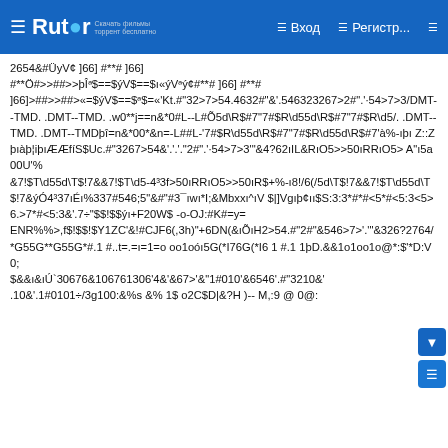☰  Rutor  Вход  Регистр...
2654&#ÜyV¢ ]66] #**# ]66] #**Ö#>>##>>þÎᵃ$==$ýV$==$ı«ýVᵃý¢#**# ]66] #**# ]66]>##>>##>«=$ýV$==$ᵃ$=«'Kt.#"32>7>54.4632#"&'.546323267>2#".'·54>7>3/DMT--TMD. .DMT--TMD. .w0**j==n&*0#L--L#Õ5d\R$#7"7#$R\d55d\R$#7"7#$R\d5/. .DMT--TMD. .DMT--TMDþî=n&*00*&n=-L##L-'7#$R\d55d\R$#7"7#$R\d55d\R$#7'à%-ıþı Z::Z þıàþ¦iþıÆÆfíS$Uc.#"3267>54&'.'.'.'"2#".'·54>7>3'"&4?62ıIL&RıO5>>50ıRRıO5> A"ı5a00U'%&7!$T\d55d\T$!7&&7!$T\d5-4³3f>50ıRRıO5>>50ıR$+%-ı8!/6(/5d\T$!7&&7!$T\d55d\T$!7&ýÓ4³37ıÉı%337#546;5"&#"#3¯ıwı*I;&Mbxxı^ıV $|]Vgıþ¢ıı$S:3:3*#*#<5*#<5:3<5>6.>7*#<5:3&'.7÷"$$!$$ýı+F20W$ -o-OJ:#K#=y=ENR%%>,f$!$$!$Y1ZC'&!#CJF6(,3h)"+6DN(&ıÕıH2>54.#"2#"&546>7>'."&326?2764/*G55G**G55G*#.1 #..t=.=ı=1=o oo1oóı5G(*I76G(*I6 1 #.1 1þD.&&1o1oo1o@*:$'*D:V0;$&&ı&ıÚ`30676&106761306'4&'&67>'&"1#010'&6546'.#"3210&'.10&'.1#0101÷/3g100:&%s &% 1$ o2C$D|&?H )-- M,:9 @ 0@: